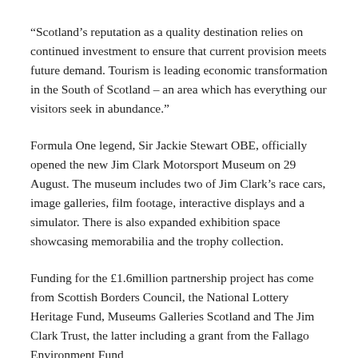“Scotland’s reputation as a quality destination relies on continued investment to ensure that current provision meets future demand. Tourism is leading economic transformation in the South of Scotland – an area which has everything our visitors seek in abundance.”
Formula One legend, Sir Jackie Stewart OBE, officially opened the new Jim Clark Motorsport Museum on 29 August. The museum includes two of Jim Clark’s race cars, image galleries, film footage, interactive displays and a simulator. There is also expanded exhibition space showcasing memorabilia and the trophy collection.
Funding for the £1.6million partnership project has come from Scottish Borders Council, the National Lottery Heritage Fund, Museums Galleries Scotland and The Jim Clark Trust, the latter including a grant from the Fallago Environment Fund